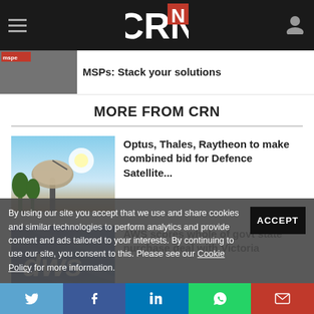CRN
MSPs: Stack your solutions
MORE FROM CRN
Optus, Thales, Raytheon to make combined bid for Defence Satellite...
AWS scores whole of govt state purchase deal with Victoria
By using our site you accept that we use and share cookies and similar technologies to perform analytics and provide content and ads tailored to your interests. By continuing to use our site, you consent to this. Please see our Cookie Policy for more information.